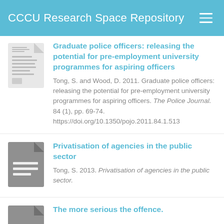CCCU Research Space Repository
Graduate police officers: releasing the potential for pre-employment university programmes for aspiring officers
Tong, S. and Wood, D. 2011. Graduate police officers: releasing the potential for pre-employment university programmes for aspiring officers. The Police Journal. 84 (1), pp. 69-74. https://doi.org/10.1350/pojo.2011.84.1.513
Privatisation of agencies in the public sector
Tong, S. 2013. Privatisation of agencies in the public sector.
The more serious the offence.